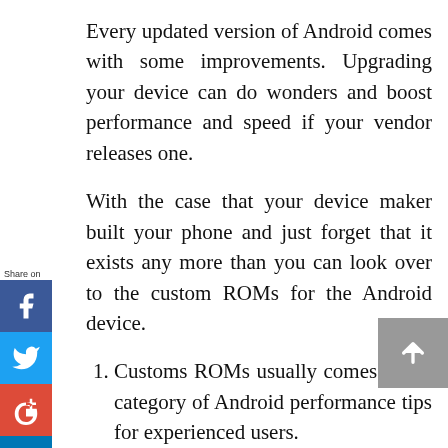Every updated version of Android comes with some improvements. Upgrading your device can do wonders and boost performance and speed if your vendor releases one.
With the case that your device maker built your phone and just forget that it exists any more than you can look over to the custom ROMs for the Android device.
Customs ROMs usually comes in the category of Android performance tips for experienced users.